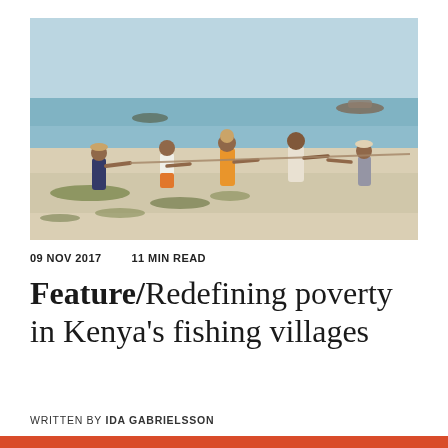[Figure (photo): Fishermen on a beach pulling a fishing net from the ocean. Several figures stand in a line on a sandy beach with seaweed, the sea and small boats visible in the background.]
09 NOV 2017   11 MIN READ
Feature/Redefining poverty in Kenya's fishing villages
WRITTEN BY IDA GABRIELSSON